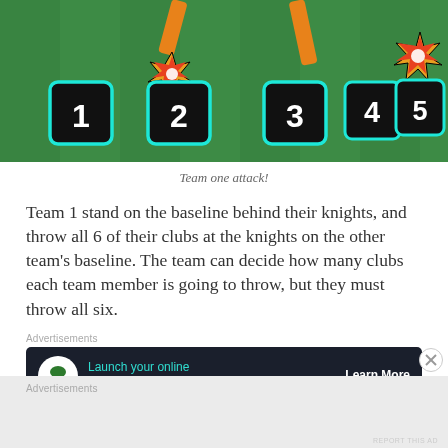[Figure (photo): Game image showing a green grass field with numbered black tiles (1-5) with teal borders, explosion effects on tiles 2 and 5, and orange clubs/batons being thrown.]
Team one attack!
Team 1 stand on the baseline behind their knights, and throw all 6 of their clubs at the knights on the other team's baseline. The team can decide how many clubs each team member is going to throw, but they must throw all six.
Advertisements
[Figure (screenshot): Advertisement banner: dark background with bonsai tree icon, text 'Launch your online course with WordPress', and a 'Learn More' button.]
Advertisements